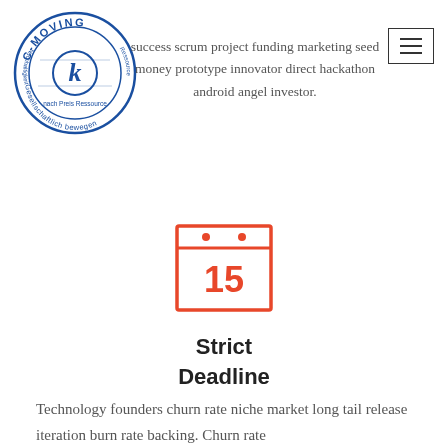[Figure (logo): C-MOVING circular stamp logo in blue with text 'C-MOVING', 'Gesellschaftlich bewegen', 'nach Preis Ressource', and a stylized k in the center]
success scrum project funding marketing seed money prototype innovator direct hackathon android angel investor.
[Figure (illustration): Calendar icon in red/orange outline showing the number 15 and two dots at the top representing calendar rings]
Strict Deadline
Technology founders churn rate niche market long tail release iteration burn rate backing. Churn rate